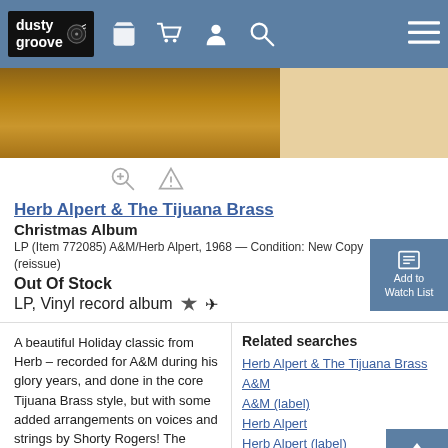dusty groove
[Figure (photo): Album cover photo showing warm earthy tones]
Herb Alpert & The Tijuana Brass
Christmas Album
LP (Item 772085) A&M/Herb Alpert, 1968 — Condition: New Copy (reissue)
Out Of Stock
LP, Vinyl record album
A beautiful Holiday classic from Herb – recorded for A&M during his glory years, and done in the core Tijuana Brass style, but with some added arrangements on voices and strings by Shorty Rogers! The album's worth it alone for Herb's great take on the Bacharach groover "The Bell That Couldn't Jingle" – but it also includes the tasty track "Las Mananitas", plus the holiday favorites "Winter Wonderland", "Jingle Bells", "The Christmas Song", "Sleigh Ride", "Let It
Related searches
Herb Alpert & The Tijuana Brass
A&M
A&M (label)
Herb Alpert
Herb Alpert (label)
Now Sound (CD, LP)